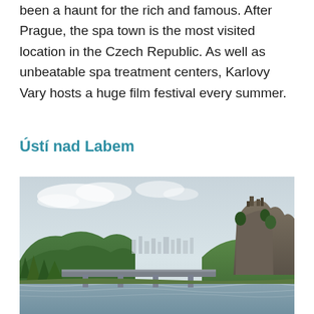been a haunt for the rich and famous. After Prague, the spa town is the most visited location in the Czech Republic. As well as unbeatable spa treatment centers, Karlovy Vary hosts a huge film festival every summer.
Ústí nad Labem
[Figure (photo): Landscape photo of Ústí nad Labem showing a river with a bridge in the foreground, green forested hills on both sides, a city skyline in the background, and a prominent rocky cliff with castle ruins on the right side.]